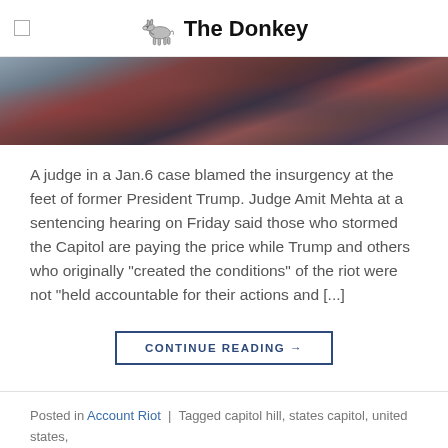The Donkey
[Figure (photo): Crowd of people wearing red and other colored hats viewed from above/behind, likely a political rally scene related to January 6th]
A judge in a Jan.6 case blamed the insurgency at the feet of former President Trump. Judge Amit Mehta at a sentencing hearing on Friday said those who stormed the Capitol are paying the price while Trump and others who originally “created the conditions” of the riot were not “held accountable for their actions and [...]
CONTINUE READING →
Posted in Account Riot | Tagged capitol hill, states capitol, united states, washington dc